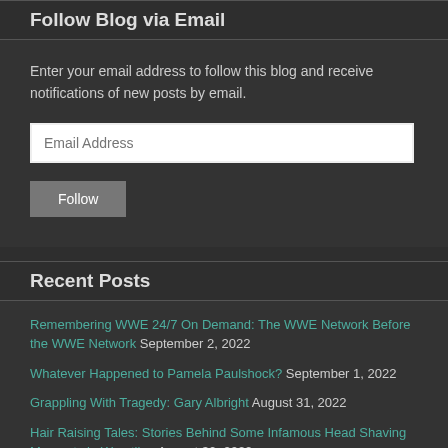Follow Blog via Email
Enter your email address to follow this blog and receive notifications of new posts by email.
Recent Posts
Remembering WWE 24/7 On Demand: The WWE Network Before the WWE Network  September 2, 2022
Whatever Happened to Pamela Paulshock?  September 1, 2022
Grappling With Tragedy: Gary Albright  August 31, 2022
Hair Raising Tales: Stories Behind Some Infamous Head Shaving Moments in Wrestling  August 30, 2022
Wrestling With Sin: 400!!!!  August 29, 2022